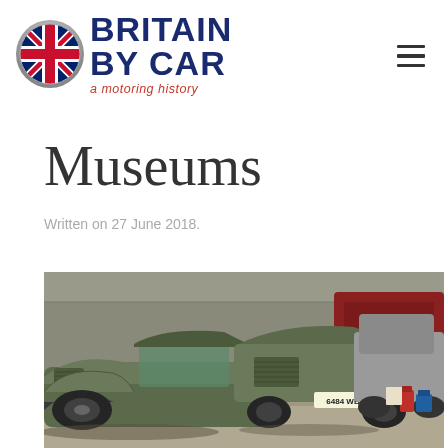Britain By Car — a motoring history
Museums
Written on 27 June 2018.
[Figure (photo): Interior of a car museum showing vintage green cars parked in a row, including a vehicle with registration plate 6484 WB, in a large hangar-like space with other classic cars visible in the background.]